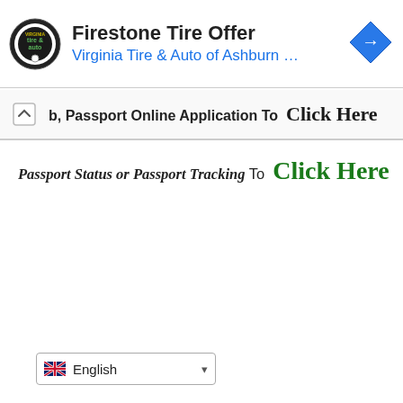[Figure (screenshot): Firestone Tire Offer advertisement banner with Virginia Tire & Auto of Ashburn logo and blue navigation arrow icon]
b, Passport Online Application To  Click Here
Passport Status or Passport Tracking To  Click Here
English